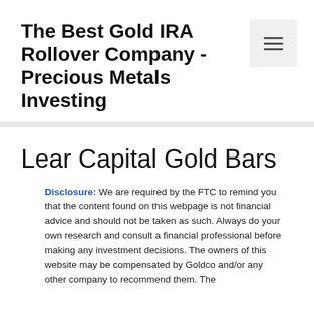The Best Gold IRA Rollover Company - Precious Metals Investing
Lear Capital Gold Bars
Disclosure: We are required by the FTC to remind you that the content found on this webpage is not financial advice and should not be taken as such. Always do your own research and consult a financial professional before making any investment decisions. The owners of this website may be compensated by Goldco and/or any other company to recommend them. The